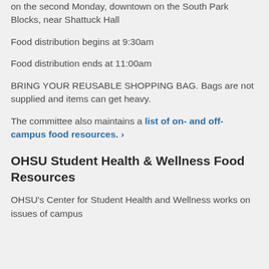on the second Monday, downtown on the South Park Blocks, near Shattuck Hall
Food distribution begins at 9:30am
Food distribution ends at 11:00am
BRING YOUR REUSABLE SHOPPING BAG. Bags are not supplied and items can get heavy.
The committee also maintains a list of on- and off-campus food resources. ›
OHSU Student Health & Wellness Food Resources
OHSU's Center for Student Health and Wellness works on issues of campus